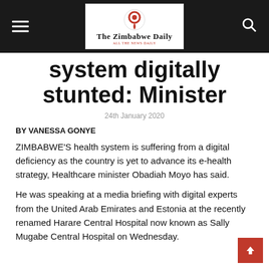The Zimbabwe Daily
system digitally stunted: Minister
24th January 2020
BY VANESSA GONYE
ZIMBABWE'S health system is suffering from a digital deficiency as the country is yet to advance its e-health strategy, Healthcare minister Obadiah Moyo has said.
He was speaking at a media briefing with digital experts from the United Arab Emirates and Estonia at the recently renamed Harare Central Hospital now known as Sally Mugabe Central Hospital on Wednesday.